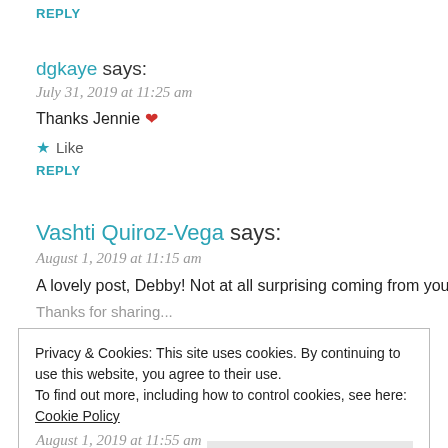REPLY
dgkaye says:
July 31, 2019 at 11:25 am
Thanks Jennie ❤
★ Like
REPLY
Vashti Quiroz-Vega says:
August 1, 2019 at 11:15 am
A lovely post, Debby! Not at all surprising coming from you.
Privacy & Cookies: This site uses cookies. By continuing to use this website, you agree to their use.
To find out more, including how to control cookies, see here: Cookie Policy
Close and accept
August 1, 2019 at 11:55 am